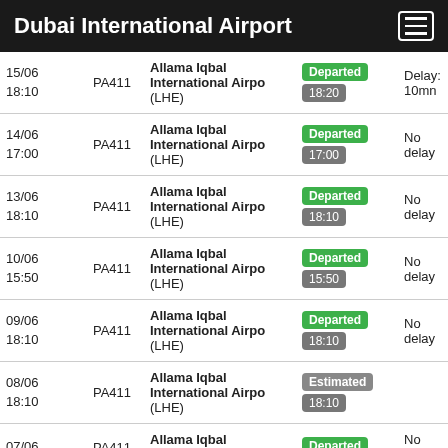Dubai International Airport
| Date/Time | Flight | Destination | Status | Delay |
| --- | --- | --- | --- | --- |
| 15/06 18:10 | PA411 | Allama Iqbal International Airpo (LHE) | Departed 18:20 | Delay: 10mn |
| 14/06 17:00 | PA411 | Allama Iqbal International Airpo (LHE) | Departed 17:00 | No delay |
| 13/06 18:10 | PA411 | Allama Iqbal International Airpo (LHE) | Departed 18:10 | No delay |
| 10/06 15:50 | PA411 | Allama Iqbal International Airpo (LHE) | Departed 15:50 | No delay |
| 09/06 18:10 | PA411 | Allama Iqbal International Airpo (LHE) | Departed 18:10 | No delay |
| 08/06 18:10 | PA411 | Allama Iqbal International Airpo (LHE) | Estimated 18:10 |  |
| 07/06 17:?? | PA411 | Allama Iqbal International | Departed | No delay |